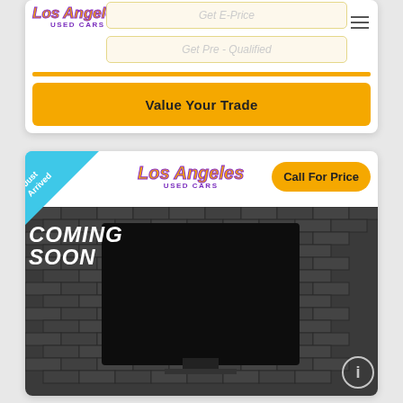[Figure (screenshot): Los Angeles Used Cars website top section with logo, hamburger menu, Get E-Price button (faded), Get Pre-Qualified button (faded), yellow divider line, and yellow Value Your Trade button]
Get E-Price
Get Pre - Qualified
Value Your Trade
[Figure (screenshot): Los Angeles Used Cars vehicle listing card with Just Arrived ribbon, logo, Call For Price button, and Coming Soon placeholder image showing dark TV/monitor on dark brick background]
Just Arrived
Call For Price
COMING SOON